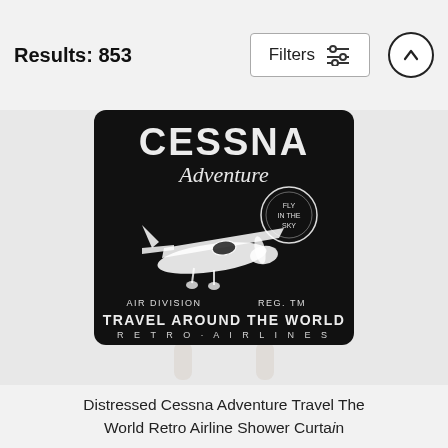Results: 853
[Figure (photo): A black square tile/shower curtain product displayed on a white stand, featuring a distressed vintage aviation graphic. Text reads: CESSNA Adventure, AIR DIVISION, REG. TM, FLY IN THE SKY (in a circle), TRAVEL AROUND THE WORLD, RETRO AIRLINES. A white illustration of a Cessna airplane is centered on the black background.]
Distressed Cessna Adventure Travel The World Retro Airline Shower Curtain